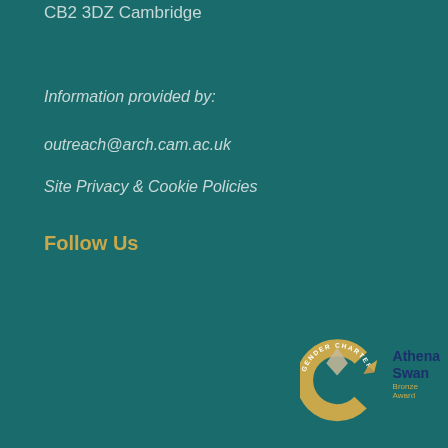CB2 3DZ Cambridge
Information provided by:
outreach@arch.cam.ac.uk
Site Privacy & Cookie Policies
Follow Us
[Figure (logo): Athena Swan Gender Charter Bronze Award logo — circular bronze arc with arrow and swan/diamond shape, text reading GENDER CHARTER around the arc, and Athena Swan Bronze Award text to the right]